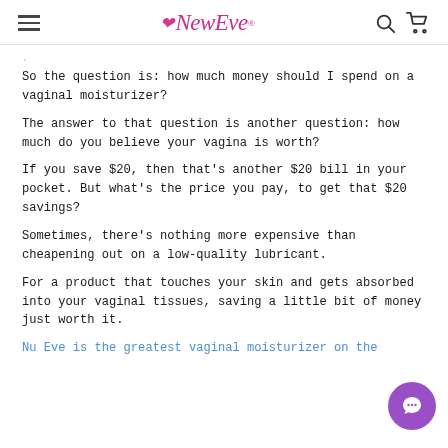NewEve logo with hamburger menu, search and cart icons
So the question is: how much money should I spend on a vaginal moisturizer?
The answer to that question is another question: how much do you believe your vagina is worth?
If you save $20, then that's another $20 bill in your pocket. But what's the price you pay, to get that $20 savings?
Sometimes, there's nothing more expensive than cheapening out on a low-quality lubricant.
For a product that touches your skin and gets absorbed into your vaginal tissues, saving a little bit of money just worth it.
Nu Eve is the greatest vaginal moisturizer on the...